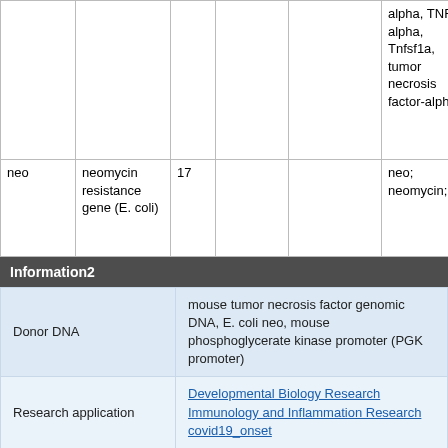|  |  |  |  |  | aliases | promoter |
| --- | --- | --- | --- | --- | --- | --- |
|  |  |  |  |  | alpha, TNF alpha, Tnfsf1a, tumor necrosis factor-alpha |  |
| neo | neomycin resistance gene (E. coli) | 17 |  |  | neo; neomycin; | mouse phospho kinase p (PGK pro |
Information2
| Label | Value |
| --- | --- |
| Donor DNA | mouse tumor necrosis factor genomic DNA, E. coli neo, mouse phosphoglycerate kinase promoter (PGK promoter) |
| Research application | Developmental Biology Research
Immunology and Inflammation Research
covid19_onset |
|  | The RECIPIENT of BIOLOGICAL |